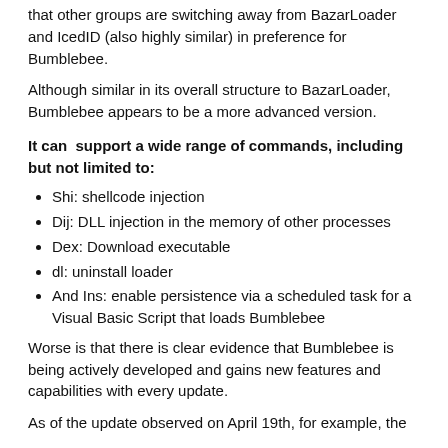that other groups are switching away from BazarLoader and IcedID (also highly similar) in preference for Bumblebee.
Although similar in its overall structure to BazarLoader, Bumblebee appears to be a more advanced version.
It can support a wide range of commands, including but not limited to:
Shi: shellcode injection
Dij: DLL injection in the memory of other processes
Dex: Download executable
dl: uninstall loader
And Ins: enable persistence via a scheduled task for a Visual Basic Script that loads Bumblebee
Worse is that there is clear evidence that Bumblebee is being actively developed and gains new features and capabilities with every update.
As of the update observed on April 19th, for example, the